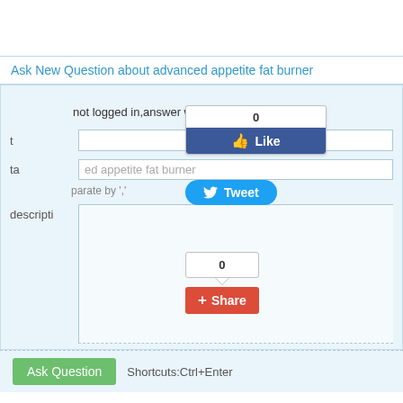Ask New Question about advanced appetite fat burner
You are not logged in, answer will be Anonymous. Set Name
title input field
tags: advanced appetite fat burner — separate by ','
description textarea
[Figure (screenshot): Facebook Like widget showing count 0 and blue Like button]
[Figure (screenshot): Twitter Tweet button in blue]
[Figure (screenshot): Google+ Share widget showing count 0 and red Share button]
Ask Question   Shortcuts:Ctrl+Enter